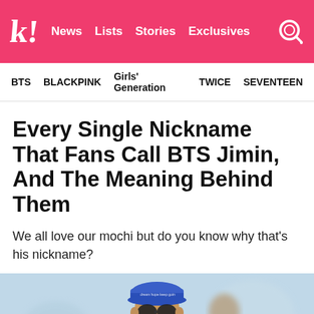k! News Lists Stories Exclusives
BTS  BLACKPINK  Girls' Generation  TWICE  SEVENTEEN
Every Single Nickname That Fans Call BTS Jimin, And The Meaning Behind Them
We all love our mochi but do you know why that's his nickname?
[Figure (photo): Photo of BTS Jimin wearing sunglasses and a blue cap at what appears to be an airport, wearing a striped outfit]